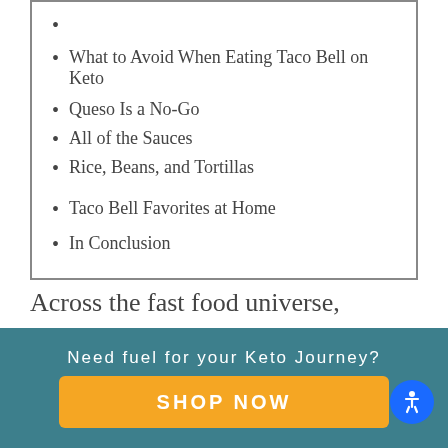What to Avoid When Eating Taco Bell on Keto
Queso Is a No-Go
All of the Sauces
Rice, Beans, and Tortillas
Taco Bell Favorites at Home
In Conclusion
Across the fast food universe, nothing unites people quite like the cuisine at Taco Bell. We recently did a piece on keto options at Chipotle, highlighting how the fast-casual chain is promising
Need fuel for your Keto Journey?
SHOP NOW